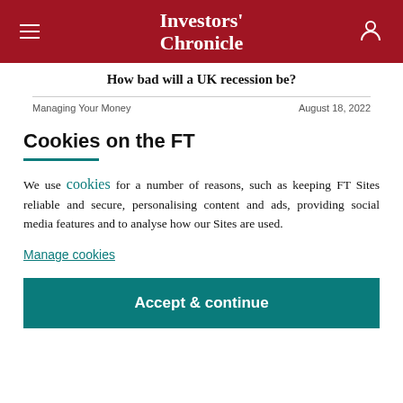Investors' Chronicle
How bad will a UK recession be?
Managing Your Money    August 18, 2022
Cookies on the FT
We use cookies for a number of reasons, such as keeping FT Sites reliable and secure, personalising content and ads, providing social media features and to analyse how our Sites are used.
Manage cookies
Accept & continue